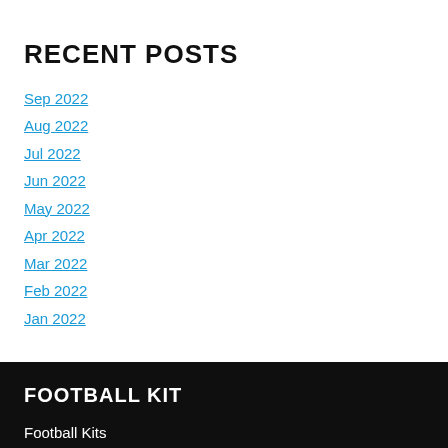RECENT POSTS
Sep 2022
Aug 2022
Jul 2022
Jun 2022
May 2022
Apr 2022
Mar 2022
Feb 2022
Jan 2022
FOOTBALL KIT
Football Kits
Football Shirts
Football Shorts
Football Socks
Goal Keepers
Football Club Shops
Cricket Club Shops
School Shops